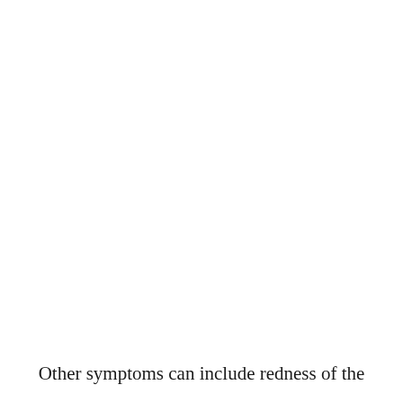Other symptoms can include redness of the